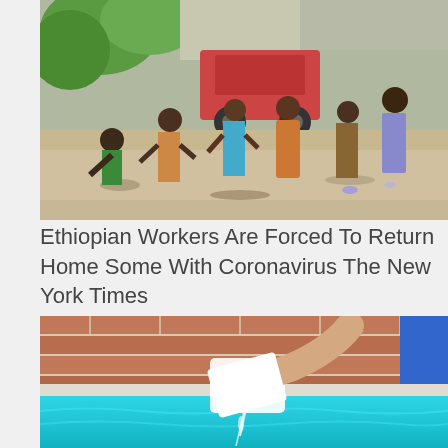[Figure (photo): Outdoor scene showing a group of people standing on a dirt/rubble area with a truck and trees in the background. Some people are bending over or standing in colorful clothing.]
Ethiopian Workers Are Forced To Return Home Some With Coronavirus The New York Times
[Figure (photo): Close-up photo of a hand pouring white powder/granules (likely pool chemical or salt) into a bright turquoise swimming pool. A brick wall is visible in the blurred background.]